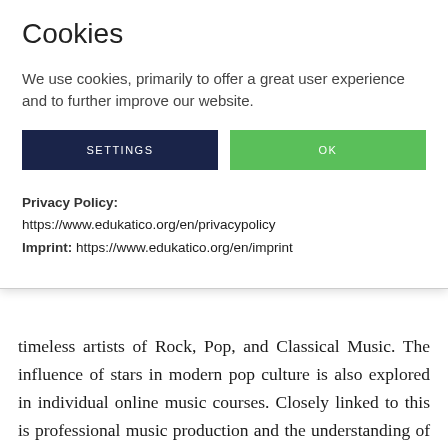Cookies
We use cookies, primarily to offer a great user experience and to further improve our website.
Privacy Policy: https://www.edukatico.org/en/privacypolicy
Imprint: https://www.edukatico.org/en/imprint
timeless artists of Rock, Pop, and Classical Music. The influence of stars in modern pop culture is also explored in individual online music courses. Closely linked to this is professional music production and the understanding of how the modern music industry works.